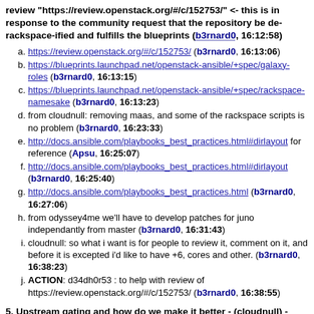review "https://review.openstack.org/#/c/152753/" <- this is in response to the community request that the repository be de-rackspace-ified and fulfills the blueprints (b3rnard0, 16:12:58)
a. https://review.openstack.org/#/c/152753/ (b3rnard0, 16:13:06)
b. https://blueprints.launchpad.net/openstack-ansible/+spec/galaxy-roles (b3rnard0, 16:13:15)
c. https://blueprints.launchpad.net/openstack-ansible/+spec/rackspace-namesake (b3rnard0, 16:13:23)
d. from cloudnull: removing maas, and some of the rackspace scripts is no problem (b3rnard0, 16:23:33)
e. http://docs.ansible.com/playbooks_best_practices.html#directory-layout for reference (Apsu, 16:25:07)
f. http://docs.ansible.com/playbooks_best_practices.html#directory-layout (b3rnard0, 16:25:40)
g. http://docs.ansible.com/playbooks_best_practices.html (b3rnard0, 16:27:06)
h. from odyssey4me we'll have to develop patches for juno independantly from master (b3rnard0, 16:31:43)
i. cloudnull: so what i want is for people to review it, comment on it, and before it is excepted i'd like to have +6, cores and other. (b3rnard0, 16:38:23)
j. ACTION: d34dh0r53 : to help with review of https://review.openstack.org/#/c/152753/ (b3rnard0, 16:38:55)
5. Upstream gating and how do we make it better - (cloudnull) - patch in review for some improvements: